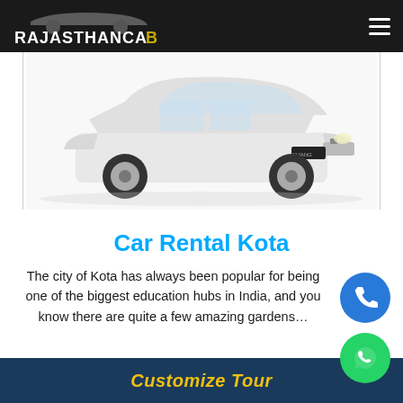RajasthanCab
[Figure (photo): White Toyota Kijang Innova car on white background, front three-quarter view]
Car Rental Kota
The city of Kota has always been popular for being one of the biggest education hubs in India, and you know there are quite a few amazing gardens…
Customize Tour